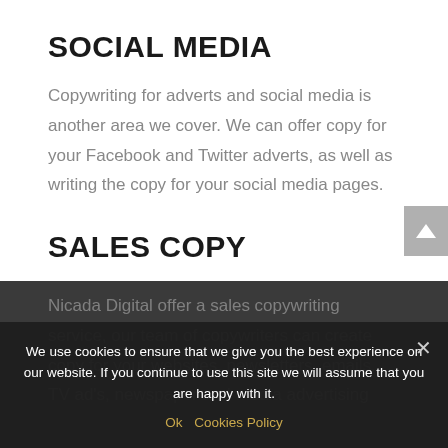SOCIAL MEDIA
Copywriting for adverts and social media is another area we cover. We can offer copy for your Facebook and Twitter adverts, as well as writing the copy for your social media pages.
SALES COPY
Nicada Digital offer a sales copywriting service, our team of copywriters can create copy for your websites, newsletters, emails, TV ad's, newspaper and media advertising
We use cookies to ensure that we give you the best experience on our website. If you continue to use this site we will assume that you are happy with it.
Ok   Cookies Policy